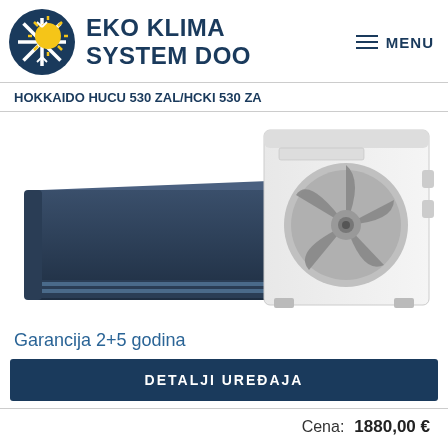EKO KLIMA SYSTEM DOO — MENU
HOKKAIDO HUCU 530 ZAL/HCKI 530 ZA
[Figure (photo): Photo of a Hokkaido duct-type indoor unit (ceiling cassette, dark blue/grey) alongside a white outdoor compressor unit]
Garancija 2+5 godina
DETALJI UREĐAJA
Cena: 1880,00 €